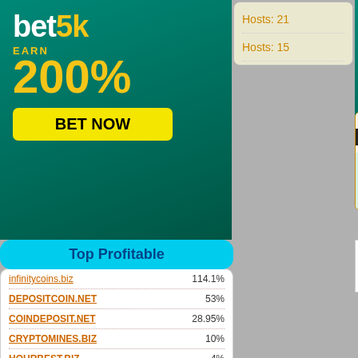[Figure (infographic): bet5k advertisement banner - dark teal background, shows 'bet5k EARN 200% BET NOW' with gold text and yellow button]
Hosts: 21
Hosts: 15
[Figure (infographic): Second bet5k advertisement banner with colorful coins showing '50' on right side, teal background]
[Figure (infographic): new bit4u advertisement panel with 12% DAILY FOR FREE, dark logo row, green tinted area]
Min/Max: $1
Referral: 5%
Withdrawal:
Top Profitable
infinitycoins.biz   114.1%
DEPOSITCOIN.NET   53%
COINDEPOSIT.NET   28.95%
CRYPTOMINES.BIZ   10%
HOURBEST.BIZ   4%
TRUSTCRYPTOINVEST.BIZ
URANUS-MINING.COM   0%
DepositRich.com   0%
BITCRYPTODEPOSIT.COM
SUPERBIT.BIZ   0%
AHM
[Figure (infographic): Payment method icons: Perfect Money, litecoin, bitcoin]
PUDRO.BIZ
[Figure (infographic): PUDRO advertisement - brown background with 50% HOURLY FOR 10 HOURS text, WAITING status, rates 0.08% to..., to 50% ho..., to 1500%..., days 125, after 7...]